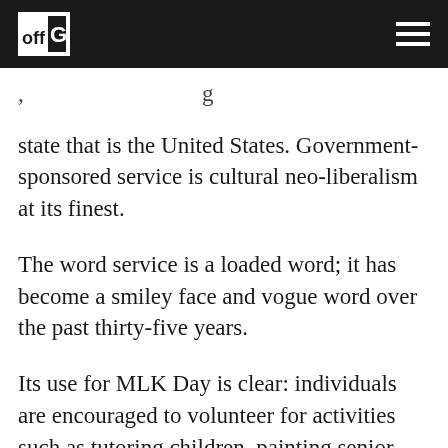off G [logo] [hamburger menu]
, state that is the United States. Government-sponsored service is cultural neo-liberalism at its finest.
The word service is a loaded word; it has become a smiley face and vogue word over the past thirty-five years.
Its use for MLK Day is clear: individuals are encouraged to volunteer for activities such as tutoring children, painting senior centers, delivering meals to the elderly, etc., activities that…